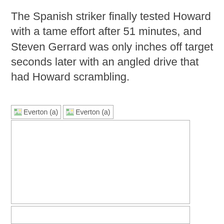The Spanish striker finally tested Howard with a tame effort after 51 minutes, and Steven Gerrard was only inches off target seconds later with an angled drive that had Howard scrambling.
[Figure (photo): Two broken image placeholders labeled 'Everton (a)' side by side, followed by two large empty image boxes below]
[Figure (photo): Large empty image box (first)]
[Figure (photo): Large empty image box (second, partially visible)]